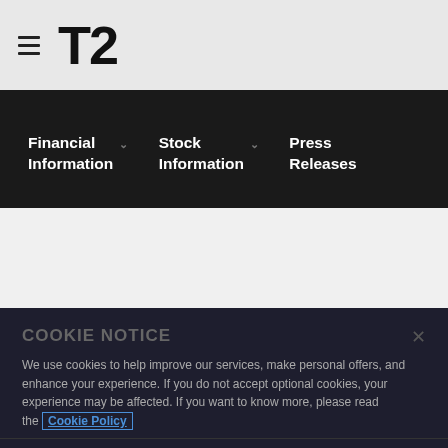[Figure (logo): T2 (Take-Two Interactive) logo in bold black text with hamburger menu icon to the left]
Financial Information | Stock Information | Press Releases
We use cookies to help improve our services, make personal offers, and enhance your experience. If you do not accept optional cookies, your experience may be affected. If you want to know more, please read the Cookie Policy
COOKIE NOTICE
Cookie Settings